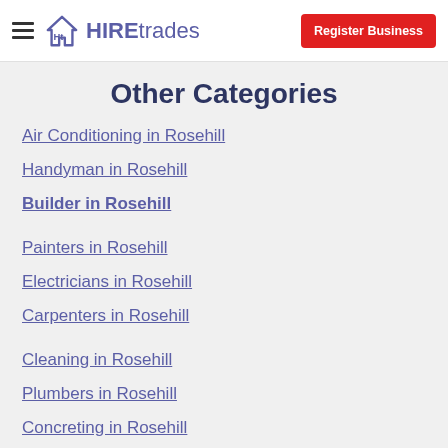HIREtrades — Register Business
Other Categories
Air Conditioning in Rosehill
Handyman in Rosehill
Builder in Rosehill
Painters in Rosehill
Electricians in Rosehill
Carpenters in Rosehill
Cleaning in Rosehill
Plumbers in Rosehill
Concreting in Rosehill